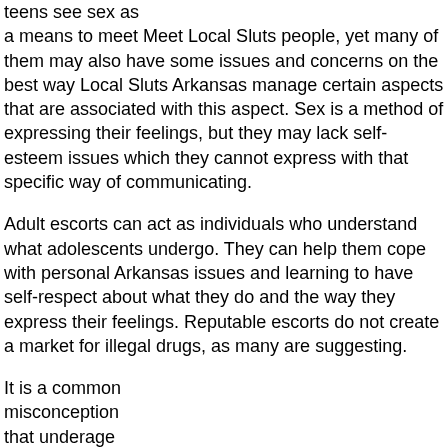teens see sex as a means to meet Meet Local Sluts people, yet many of them may also have some issues and concerns on the best way Local Sluts Arkansas manage certain aspects that are associated with this aspect. Sex is a method of expressing their feelings, but they may lack self-esteem issues which they cannot express with that specific way of communicating.
Adult escorts can act as individuals who understand what adolescents undergo. They can help them cope with personal Arkansas issues and learning to have self-respect about what they do and the way they express their feelings. Reputable escorts do not create a market for illegal drugs, as many are suggesting.
It is a common misconception that underage prostitutes use drugs so as to be